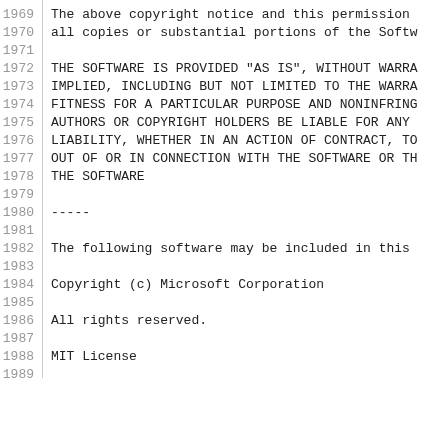1969  The above copyright notice and this permission
1970  all copies or substantial portions of the Softw
1971
1972  THE SOFTWARE IS PROVIDED "AS IS", WITHOUT WARRA
1973  IMPLIED, INCLUDING BUT NOT LIMITED TO THE WARRA
1974  FITNESS FOR A PARTICULAR PURPOSE AND NONINFRING
1975  AUTHORS OR COPYRIGHT HOLDERS BE LIABLE FOR ANY
1976  LIABILITY, WHETHER IN AN ACTION OF CONTRACT, TO
1977  OUT OF OR IN CONNECTION WITH THE SOFTWARE OR TH
1978  THE SOFTWARE
1979
1980  -----
1981
1982  The following software may be included in this
1983
1984  Copyright (c) Microsoft Corporation
1985
1986  All rights reserved.
1987
1988  MIT License
1989